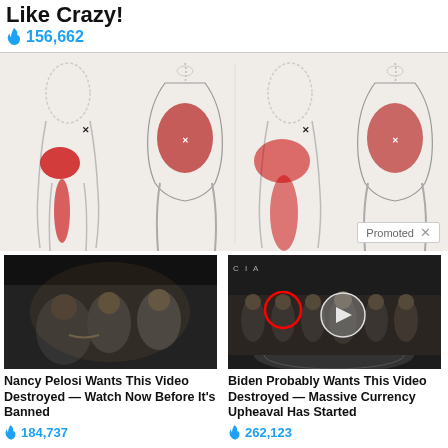Like Crazy!
🔥 156,662
[Figure (illustration): Medical illustration showing four views of hip/pelvis anatomy with red highlighted pain areas indicating hip pain or piriformis syndrome. Labeled with 'Promoted X' badge.]
[Figure (photo): Photo of Nancy Pelosi, Joe Biden, and Barack Obama at what appears to be an official event or speech setting.]
Nancy Pelosi Wants This Video Destroyed — Watch Now Before It's Banned
🔥 184,737
[Figure (photo): Photo of a group of people in suits standing in a line at what appears to be the CIA headquarters, with a red circle highlighting one individual and a play button overlay.]
Biden Probably Wants This Video Destroyed — Massive Currency Upheaval Has Started
🔥 262,123